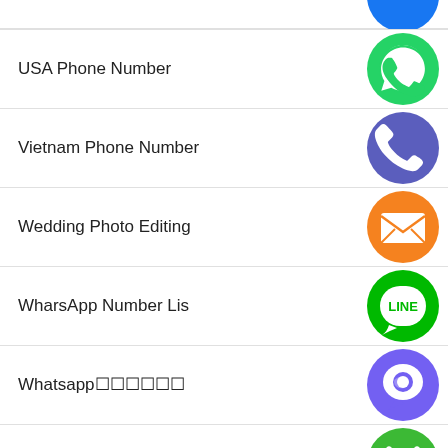USA Phone Number
Vietnam Phone Number
Wedding Photo Editing
WharsApp Number List
Whatsapp番組表
Список телефонних номерів
番組表番組
番組表番組